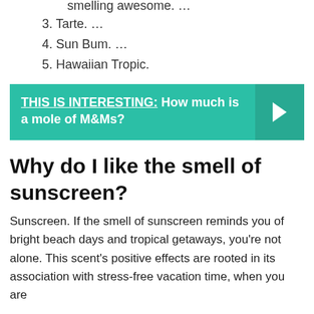smelling awesome. …
3. Tarte. …
4. Sun Bum. …
5. Hawaiian Tropic.
[Figure (infographic): Teal banner with bold text: THIS IS INTERESTING: How much is a mole of M&Ms? with a right arrow chevron on the right side in a darker teal box.]
Why do I like the smell of sunscreen?
Sunscreen. If the smell of sunscreen reminds you of bright beach days and tropical getaways, you're not alone. This scent's positive effects are rooted in its association with stress-free vacation time, when you are